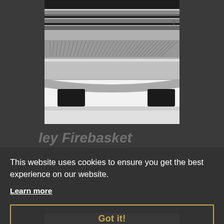[Figure (photo): Close-up photo of a stainless steel firebasket grill with black rubber feet on a white background. The grill shows multiple horizontal chrome bars and a decorative patterned lower section.]
ley Firebasket
This website uses cookies to ensure you get the best experience on our website.
Learn more
duct
Got it!